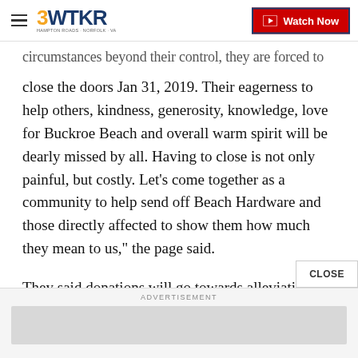3WTKR — Watch Now
circumstances beyond their control, they are forced to close the doors Jan 31, 2019. Their eagerness to help others, kindness, generosity, knowledge, love for Buckroe Beach and overall warm spirit will be dearly missed by all. Having to close is not only painful, but costly. Let's come together as a community to help send off Beach Hardware and those directly affected to show them how much they mean to us," the page said.
They said donations will go towards alleviating debt and allowing the Mitchell family to start over on a clean slate.
CLOSE
ADVERTISEMENT